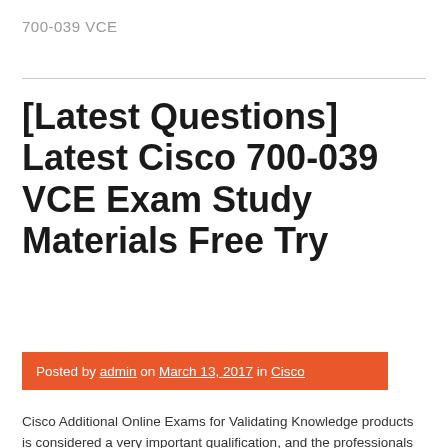700-039 VCE
[Latest Questions] Latest Cisco 700-039 VCE Exam Study Materials Free Try
Posted by admin on March 13, 2017 in Cisco
Cisco Additional Online Exams for Validating Knowledge products is considered a very important qualification, and the professionals